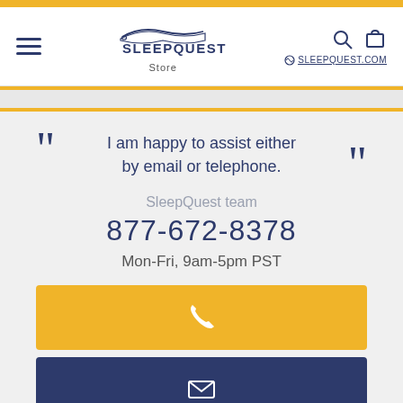[Figure (logo): SleepQuest Store logo with navigation header including hamburger menu, search icon, cart icon, and SLEEPQUEST.COM link]
I am happy to assist either by email or telephone.
SleepQuest team
877-672-8378
Mon-Fri, 9am-5pm PST
[Figure (other): Yellow call button with phone handset icon]
[Figure (other): Dark blue email button with envelope icon]